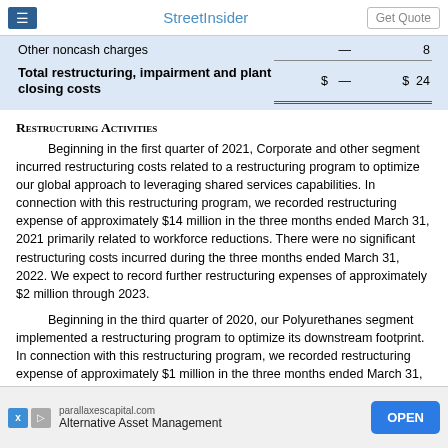StreetInsider | Get Quote
|  | Col1 | Col2 |
| --- | --- | --- |
| Other noncash charges | — | 8 |
| Total restructuring, impairment and plant closing costs | $  — | $  24 |
Restructuring Activities
Beginning in the first quarter of 2021, Corporate and other segment incurred restructuring costs related to a restructuring program to optimize our global approach to leveraging shared services capabilities. In connection with this restructuring program, we recorded restructuring expense of approximately $14 million in the three months ended March 31, 2021 primarily related to workforce reductions. There were no significant restructuring costs incurred during the three months ended March 31, 2022. We expect to record further restructuring expenses of approximately $2 million through 2023.
Beginning in the third quarter of 2020, our Polyurethanes segment implemented a restructuring program to optimize its downstream footprint. In connection with this restructuring program, we recorded restructuring expense of approximately $1 million in the three months ended March 31, 2021. There were no significant restructuring costs incurred during the three months ended March 31, 2022. We expect to record further restructuring expenses of approximately $2 million...